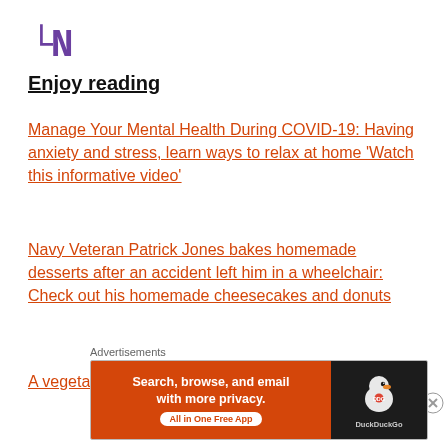[Figure (logo): LIN logo in purple monospace font]
Enjoy reading
Manage Your Mental Health During COVID-19: Having anxiety and stress, learn ways to relax at home ‘Watch this informative video’
Navy Veteran Patrick Jones bakes homemade desserts after an accident left him in a wheelchair: Check out his homemade cheesecakes and donuts
A vegetarian lifestyle
Advertisements
[Figure (screenshot): DuckDuckGo advertisement banner: Search, browse, and email with more privacy. All in One Free App]